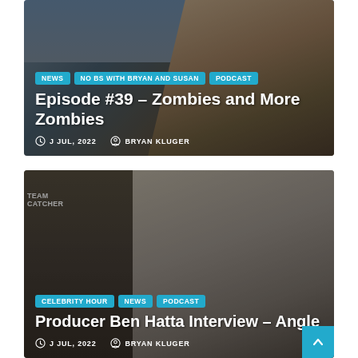[Figure (photo): Card 1: Outdoor photo of a man with blond hair against a sky background, overlaid with tags and article title text]
[Figure (photo): Card 2: Indoor photo of a young man smiling, with a Team Catcher sign visible, overlaid with tags and article title text]